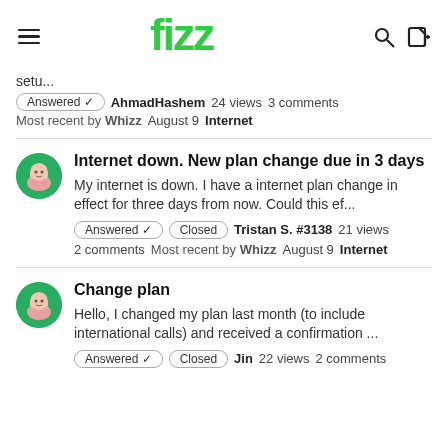fizz
setu...
Answered ✓   AhmadHashem   24 views   3 comments
Most recent by Whizz   August 9   Internet
Internet down. New plan change due in 3 days
My internet is down. I have a internet plan change in effect for three days from now. Could this ef...
Answered ✓   Closed   Tristan S. #3138   21 views
2 comments   Most recent by Whizz   August 9   Internet
Change plan
Hello, I changed my plan last month (to include international calls) and received a confirmation ...
Answered ✓   Closed   Jin   22 views   2 comments